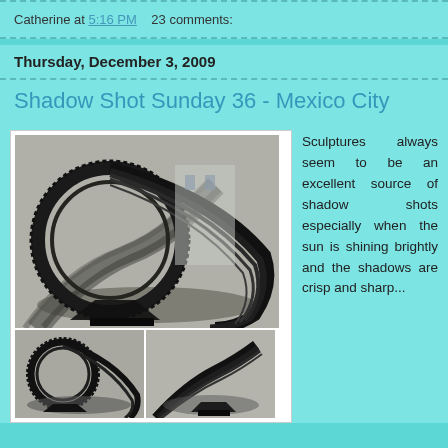Catherine at 5:16 PM    23 comments:
Thursday, December 3, 2009
Shadow Shot Sunday 36 - Mexico City
[Figure (photo): Three photos of dark metal sculpture with curved swirling forms casting dramatic shadows on pavement in Mexico City. Top large photo shows full sculpture, bottom two show detail views.]
Sculptures always seem to be an excellent source of shadow shots especially when the sun is shining brightly and the shadows are crisp and sharp...